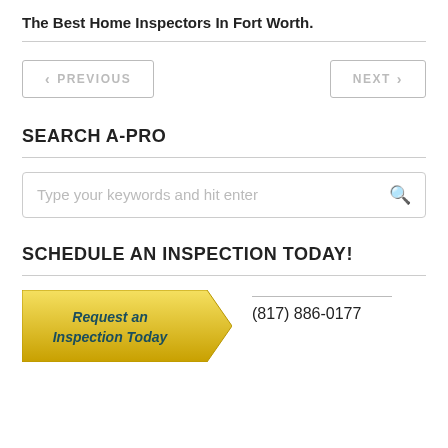The Best Home Inspectors In Fort Worth.
SEARCH A-PRO
Type your keywords and hit enter
SCHEDULE AN INSPECTION TODAY!
[Figure (other): Yellow angled button labeled 'Request an Inspection Today']
(817) 886-0177